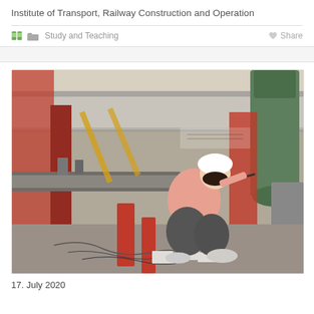Institute of Transport, Railway Construction and Operation
Study and Teaching    Share
[Figure (photo): A woman wearing a white hard hat and pink shirt crouches in a testing laboratory, writing on a large concrete beam with heavy industrial machinery in the background, including red hydraulic presses and a green cylinder.]
17. July 2020